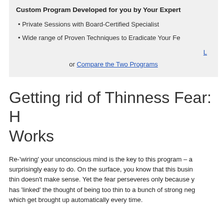Custom Program Developed for you by Your Expert
Private Sessions with Board-Certified Specialist
Wide range of Proven Techniques to Eradicate Your Fe
or Compare the Two Programs
Getting rid of Thinness Fear: H Works
Re-'wiring' your unconscious mind is the key to this program – a surprisingly easy to do. On the surface, you know that this busin thin doesn't make sense. Yet the fear perseveres only because y has 'linked' the thought of being too thin to a bunch of strong neg which get brought up automatically every time.